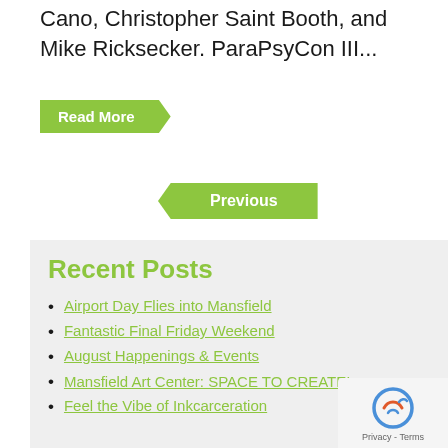Cano, Christopher Saint Booth, and Mike Ricksecker. ParaPsyCon III...
Read More
Previous
Recent Posts
Airport Day Flies into Mansfield
Fantastic Final Friday Weekend
August Happenings & Events
Mansfield Art Center: SPACE TO CREATE!
Feel the Vibe of Inkcarceration